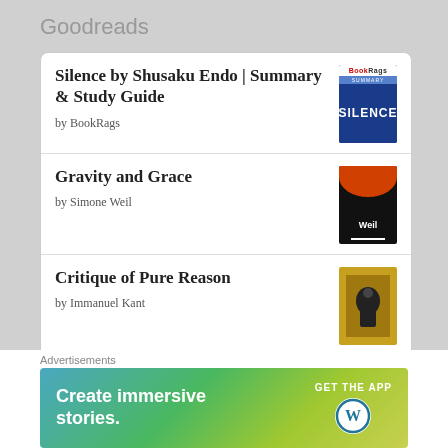Goodreads
Silence by Shusaku Endo | Summary & Study Guide
by BookRags
Gravity and Grace
by Simone Weil
Critique of Pure Reason
by Immanuel Kant
A Discourse on Political Economy
Advertisements
[Figure (screenshot): Advertisement banner: 'Create immersive stories. GET THE APP' with WordPress logo, gradient green/blue background]